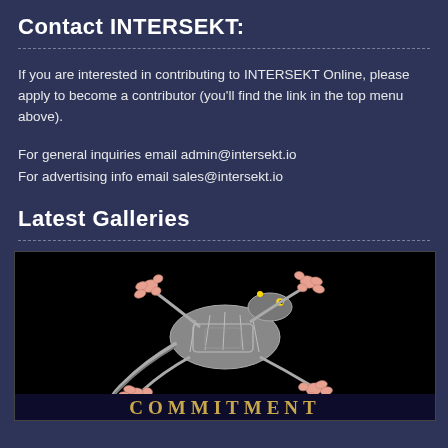Contact INTERSEKT:
If you are interested in contributing to INTERSEKT Online, please apply to become a contributor (you'll find the link in the top menu above).
For general inquiries email admin@intersekt.io
For advertising info email sales@intersekt.io
Latest Galleries
[Figure (photo): A mechanical/robotic lizard sculpture against a black background, with the word COMMITMENT partially visible at the bottom in gold letters]